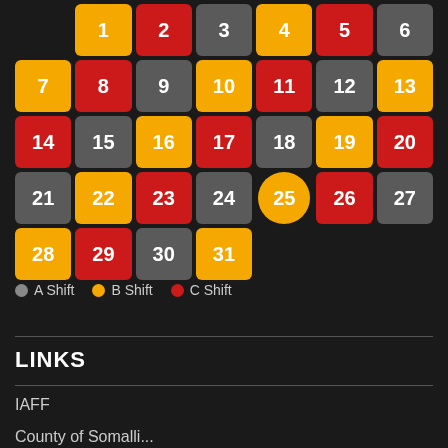[Figure (other): Monthly shift calendar grid showing days 1-31 color-coded by shift type: A Shift (gray), B Shift (gold/yellow), C Shift (red). Day 25 is highlighted as today with a circular gold marker.]
A Shift  B Shift  C Shift
LINKS
IAFF
County of Somalli...